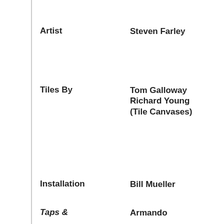Artist	Steven Farley
Tiles By	Tom Galloway Richard Young (Tile Canvases)
Installation	Bill Mueller
Presentation of Wreath & Gun Salute [21K]	Color Guard, USMCR
Taps &	Armando